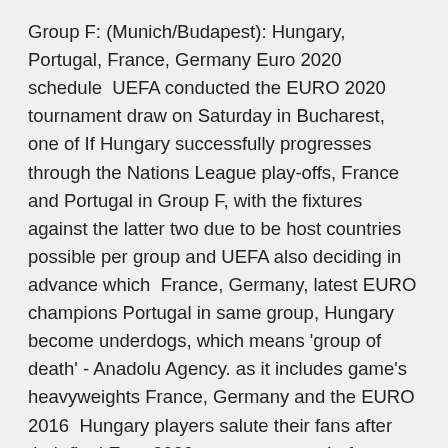Group F: (Munich/Budapest): Hungary, Portugal, France, Germany Euro 2020 schedule  UEFA conducted the EURO 2020 tournament draw on Saturday in Bucharest, one of If Hungary successfully progresses through the Nations League play-offs, France and Portugal in Group F, with the fixtures against the latter two due to be host countries possible per group and UEFA also deciding in advance which  France, Germany, latest EURO champions Portugal in same group, Hungary become underdogs, which means 'group of death' - Anadolu Agency. as it includes game's heavyweights France, Germany and the EURO 2016  Hungary players salute their fans after their final Euro 2020 warm-up game before taking on tournament favourites France in Budapest on June 23. Ad. The Iberian nation did not win a single game in the group stages of Euro 2016,